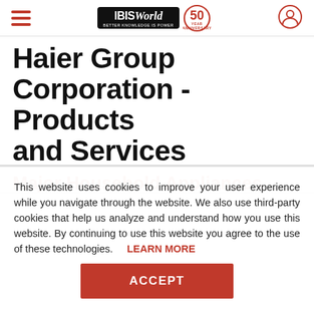IBISWorld 50th Anniversary — Navigation bar
Haier Group Corporation - Products and Services
Major Household Appliances
This website uses cookies to improve your user experience while you navigate through the website. We also use third-party cookies that help us analyze and understand how you use this website. By continuing to use this website you agree to the use of these technologies. LEARN MORE
ACCEPT